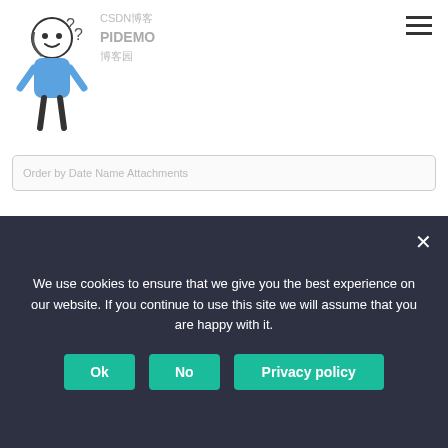CSDN博客 · PIDEMO · 博客园 · Order by Date Name Attachments
: 5
https://github.com/xieguigang/Darwinism
用LINQ查询数据库的时候经常会遇到一些问题，在写这些查询的时候总结了一些规律，在这里分享给大家。
在做这个项目的时候Darwinism的LINQ查询模块基本上是参照了Sqlite的数据库驱动来写的
We use cookies to ensure that we give you the best experience on our website. If you continue to use this site we will assume that you are happy with it.
Ok
No
Privacy policy